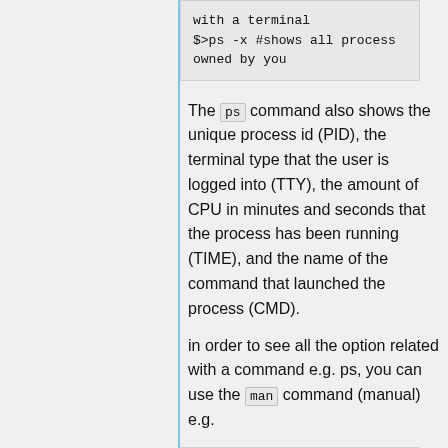with a terminal
$>ps -x #shows all process owned by you
The ps command also shows the unique process id (PID), the terminal type that the user is logged into (TTY), the amount of CPU in minutes and seconds that the process has been running (TIME), and the name of the command that launched the process (CMD).
in order to see all the option related with a command e.g. ps, you can use the man command (manual) e.g.
$> man ps #shows all the option for the ps command
$> man ls #shows all the option for the ls command